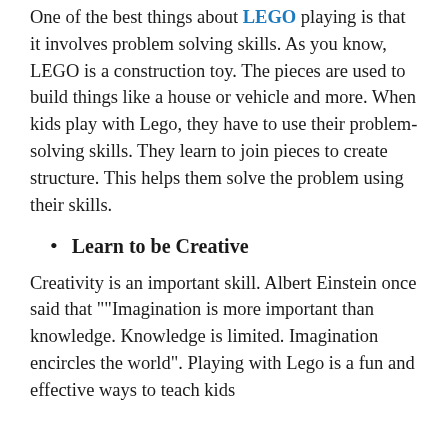One of the best things about LEGO playing is that it involves problem solving skills. As you know, LEGO is a construction toy. The pieces are used to build things like a house or vehicle and more. When kids play with Lego, they have to use their problem-solving skills. They learn to join pieces to create structure. This helps them solve the problem using their skills.
Learn to be Creative
Creativity is an important skill. Albert Einstein once said that ""Imagination is more important than knowledge. Knowledge is limited. Imagination encircles the world". Playing with Lego is a fun and effective ways to teach kids